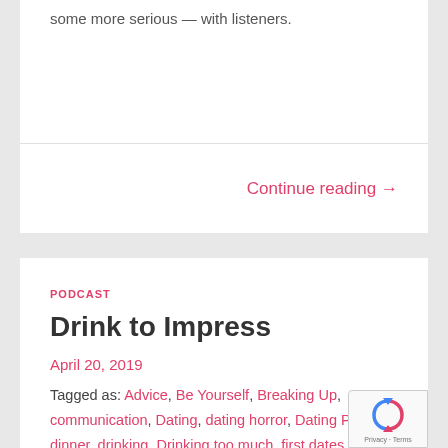some more serious — with listeners.
Continue reading →
PODCAST
Drink to Impress
April 20, 2019
Tagged as: Advice, Be Yourself, Breaking Up, communication, Dating, dating horror, Dating Profiles, dinner, drinking, Drinking too much, first dates, online dating, podcast, so we met, so we met online